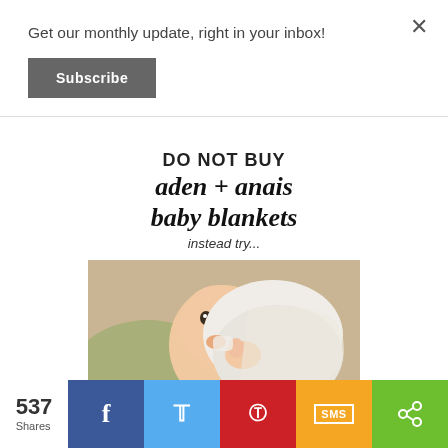Get our monthly update, right in your inbox!
Subscribe
×
[Figure (illustration): Article feature image with text overlay reading 'DO NOT BUY aden + anais baby blankets instead try...' above a photo of a baby holding a white blanket]
537 Shares
[Figure (infographic): Social share bar with Facebook, Twitter, Pinterest, SMS, and share buttons]